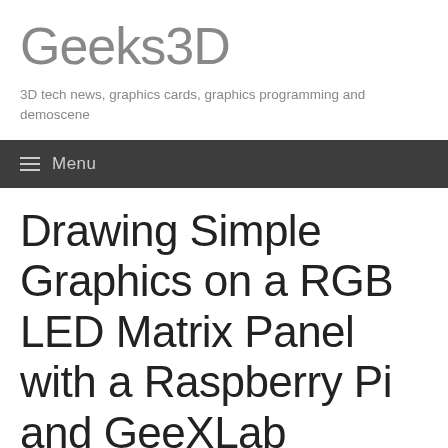Geeks3D
3D tech news, graphics cards, graphics programming and demoscene
Menu
Drawing Simple Graphics on a RGB LED Matrix Panel with a Raspberry Pi and GeeXLab